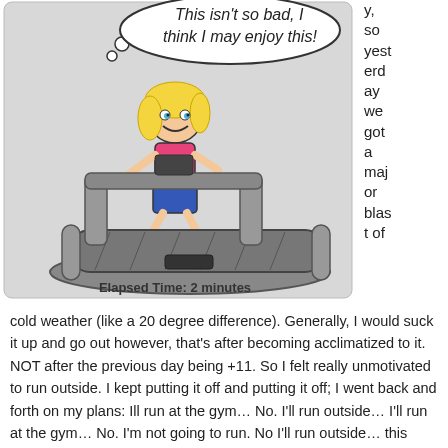[Figure (illustration): Cartoon illustration of a smiling blonde girl running on a treadmill with a thought bubble saying 'This isn't so bad, I think I may enjoy this!' and caption 'Elapsed Time: 2 minutes']
y, so yesterday we got a major blast of cold weather (like a 20 degree difference). Generally, I would suck it up and go out however, that's after becoming acclimatized to it. NOT after the previous day being +11. So I felt really unmotivated to run outside. I kept putting it off and putting it off; I went back and forth on my plans: Ill run at the gym… No. I'll run outside… I'll run at the gym… No. I'm not going to run. No I'll run outside… this went on until I realized it was 8:45 p.m. and I just couldn't motivate myself.